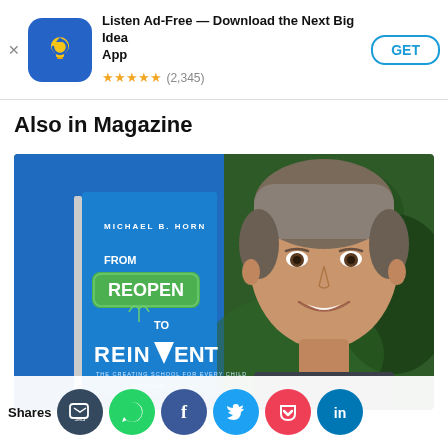[Figure (screenshot): App store banner ad for 'Next Big Idea App' with blue icon showing a lightbulb with arrow, title 'Listen Ad-Free — Download the Next Big Idea App', 5-star rating with (2,345) reviews, and a GET button]
Also in Magazine
[Figure (photo): Composite image showing the book 'From Reopen to Reinvent: Creating School for Every Child' by Michael B. Horn against a blue background, alongside a headshot of the author (middle-aged man with gray hair, smiling) against a green outdoor background]
Shares